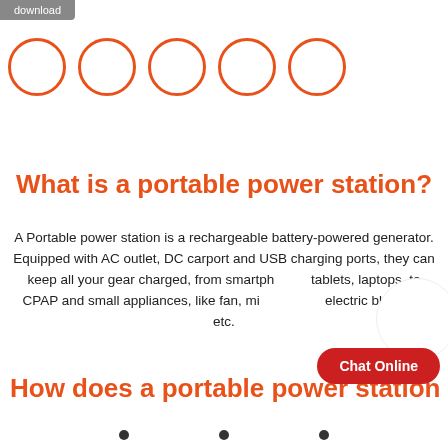download
[Figure (illustration): Five orange outlined circles in a row, used as navigation dots or social media icons]
What is a portable power station?
A Portable power station is a rechargeable battery-powered generator. Equipped with AC outlet, DC carport and USB charging ports, they can keep all your gear charged, from smartphones, tablets, laptops, to CPAP and small appliances, like fan, mini coolers, electric blankets, etc.
How does a portable power station
[Figure (illustration): Chat Online red rounded button overlay]
[Figure (illustration): Three black navigation dots at page bottom]